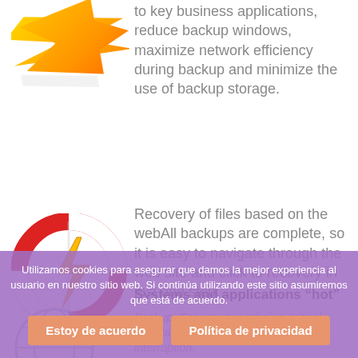[Figure (illustration): Orange/yellow lightning bolt arrow icon at top left]
to key business applications, reduce backup windows, maximize network efficiency during backup and minimize the use of backup storage.
[Figure (illustration): Life ring / rescue buoy with lightning bolt icon]
Recovery of files based on the webAll backups are complete, so it is easy to navigate through the web site and click to recovery in just one step.
Systems and applications “hot”
[Figure (illustration): Globe/world icon partially visible behind cookie banner]
Backup: Secure your mission-critical applications and databases without interruption.
Utilizamos cookies para asegurar que damos la mejor experiencia al usuario en nuestro sitio web. Si continúa utilizando este sitio asumiremos que está de acuerdo.
Estoy de acuerdo
Política de privacidad